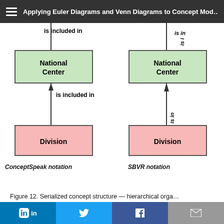Applying Euler Diagrams and Venn Diagrams to Concept Modeling
[Figure (flowchart): Two side-by-side concept structure diagrams. Left (ConceptSpeak notation): National Center box (green) connected by arrow labeled 'is included in' pointing up to a 'is included in' label at top, and connected down to Division box (pink) with arrow labeled 'is included in' pointing up. Right (SBVR notation): National Center box (green) connected by vertical arrow labeled 'is in' (rotated) pointing up, and connected down to Division box (pink) with arrow labeled 'is in' (rotated) pointing up.]
ConceptSpeak notation
SBVR notation
Figure 12. Serialized concept structure — hierarchical organization
in  [twitter bird]  f  [envelope]